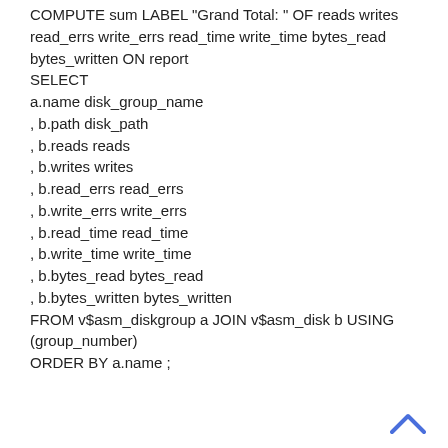COMPUTE sum LABEL "Grand Total: " OF reads writes read_errs write_errs read_time write_time bytes_read bytes_written ON report
SELECT
a.name disk_group_name
, b.path disk_path
, b.reads reads
, b.writes writes
, b.read_errs read_errs
, b.write_errs write_errs
, b.read_time read_time
, b.write_time write_time
, b.bytes_read bytes_read
, b.bytes_written bytes_written
FROM v$asm_diskgroup a JOIN v$asm_disk b USING (group_number)
ORDER BY a.name ;